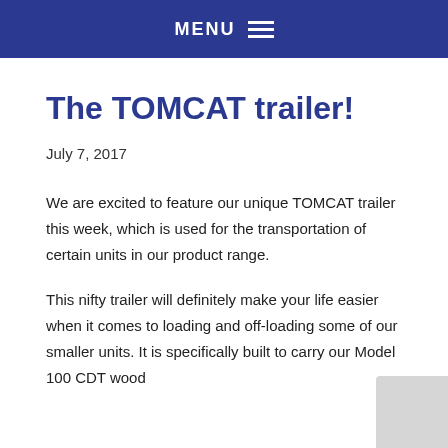MENU
The TOMCAT trailer!
July 7, 2017
We are excited to feature our unique TOMCAT trailer this week, which is used for the transportation of certain units in our product range.
This nifty trailer will definitely make your life easier when it comes to loading and off-loading some of our smaller units. It is specifically built to carry our Model 100 CDT wood...